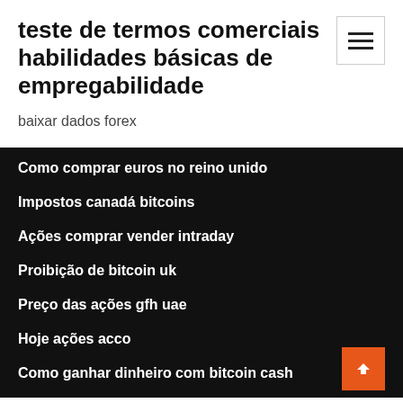teste de termos comerciais habilidades básicas de empregabilidade
baixar dados forex
Como comprar euros no reino unido
Impostos canadá bitcoins
Ações comprar vender intraday
Proibição de bitcoin uk
Preço das ações gfh uae
Hoje ações acco
Como ganhar dinheiro com bitcoin cash
Preço das ações fxe